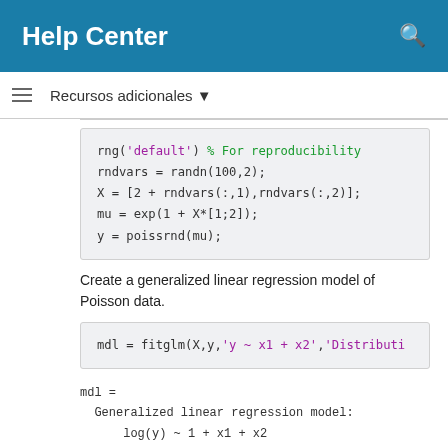Help Center
Recursos adicionales ▾
rng('default') % For reproducibility
rndvars = randn(100,2);
X = [2 + rndvars(:,1),rndvars(:,2)];
mu = exp(1 + X*[1;2]);
y = poissrnd(mu);
Create a generalized linear regression model of Poisson data.
mdl = fitglm(X,y,'y ~ x1 + x2','Distributi
mdl =
  Generalized linear regression model:
      log(y) ~ 1 + x1 + x2
      Distribution = Poisson

  Estimated Coefficients:
                Estimate        SE